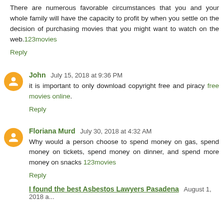There are numerous favorable circumstances that you and your whole family will have the capacity to profit by when you settle on the decision of purchasing movies that you might want to watch on the web. 123movies
Reply
John  July 15, 2018 at 9:36 PM
it is important to only download copyright free and piracy free movies online.
Reply
Floriana Murd  July 30, 2018 at 4:32 AM
Why would a person choose to spend money on gas, spend money on tickets, spend money on dinner, and spend more money on snacks 123movies
Reply
I found the best Asbestos Lawyers Pasadena  August 1, 2018 at...